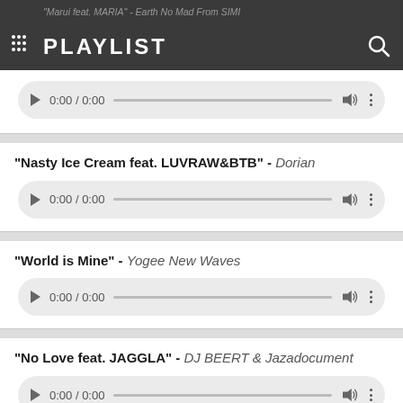PLAYLIST
"Marui feat. MARIA" - Earth No Mad From SIMI
[Figure (screenshot): Audio player control showing 0:00 / 0:00 with progress bar, volume and more options]
"Nasty Ice Cream feat. LUVRAW&BTB" - Dorian
[Figure (screenshot): Audio player control showing 0:00 / 0:00 with progress bar, volume and more options]
"World is Mine" - Yogee New Waves
[Figure (screenshot): Audio player control showing 0:00 / 0:00 with progress bar, volume and more options]
"No Love feat. JAGGLA" - DJ BEERT & Jazadocument
[Figure (screenshot): Audio player control showing 0:00 / 0:00 with progress bar, volume and more options (partially visible)]